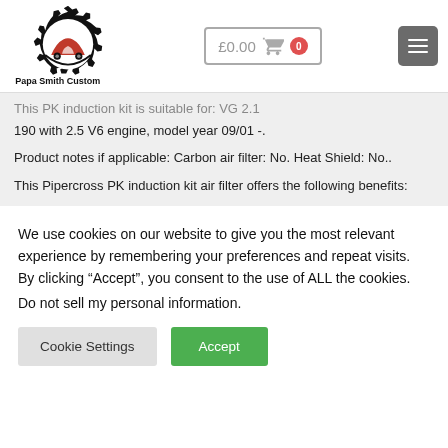[Figure (logo): Papa Smith Custom logo with gear and red car icon]
This PK induction kit is suitable for: VG 2.1 190 with 2.5 V6 engine, model year 09/01 -.
Product notes if applicable: Carbon air filter: No. Heat Shield: No..
This Pipercross PK induction kit air filter offers the following benefits:
We use cookies on our website to give you the most relevant experience by remembering your preferences and repeat visits. By clicking “Accept”, you consent to the use of ALL the cookies.
Do not sell my personal information.
Cookie Settings
Accept